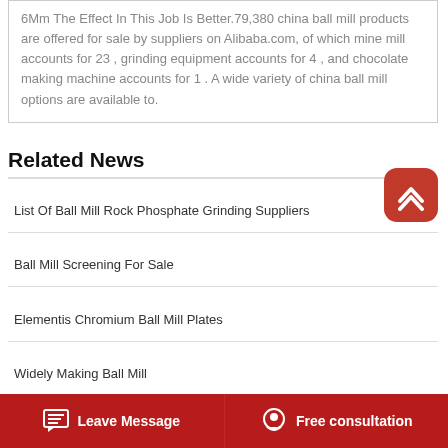6Mm The Effect In This Job Is Better.79,380 china ball mill products are offered for sale by suppliers on Alibaba.com, of which mine mill accounts for 23 , grinding equipment accounts for 4 , and chocolate making machine accounts for 1 . A wide variety of china ball mill options are available to.
Related News
List Of Ball Mill Rock Phosphate Grinding Suppliers
Ball Mill Screening For Sale
Elementis Chromium Ball Mill Plates
Widely Making Ball Mill
Leave Message   Free consultation